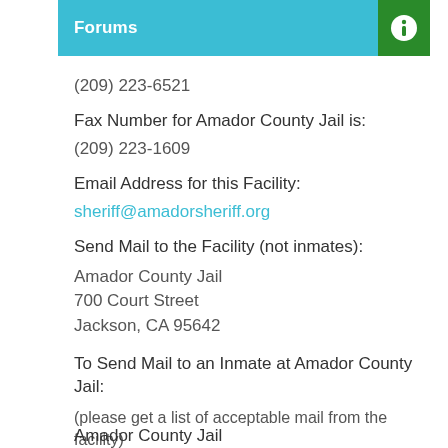Forums
(209) 223-6521
Fax Number for Amador County Jail is:
(209) 223-1609
Email Address for this Facility:
sheriff@amadorsheriff.org
Send Mail to the Facility (not inmates):
Amador County Jail
700 Court Street
Jackson, CA 95642
To Send Mail to an Inmate at Amador County Jail:
(please get a list of acceptable mail from the facility)
Amador County Jail